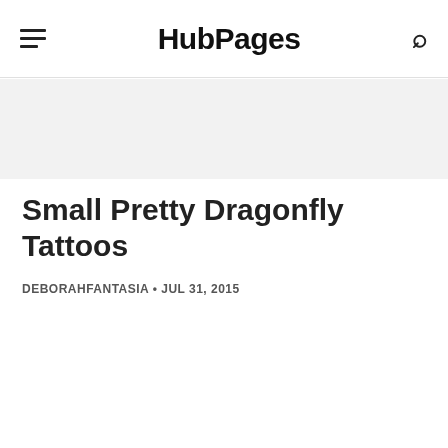HubPages
Small Pretty Dragonfly Tattoos
DEBORAHFANTASIA • JUL 31, 2015